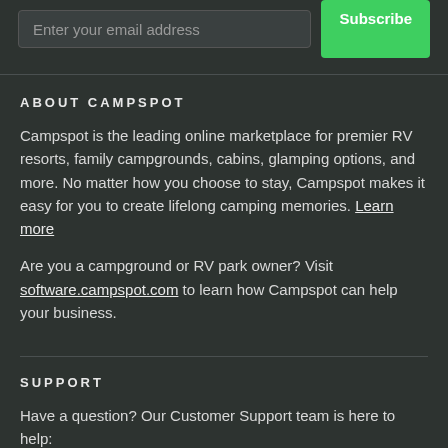Enter your email address
ABOUT CAMPSPOT
Campspot is the leading online marketplace for premier RV resorts, family campgrounds, cabins, glamping options, and more. No matter how you choose to stay, Campspot makes it easy for you to create lifelong camping memories. Learn more
Are you a campground or RV park owner? Visit software.campspot.com to learn how Campspot can help your business.
SUPPORT
Have a question? Our Customer Support team is here to help:
help@campspot.com